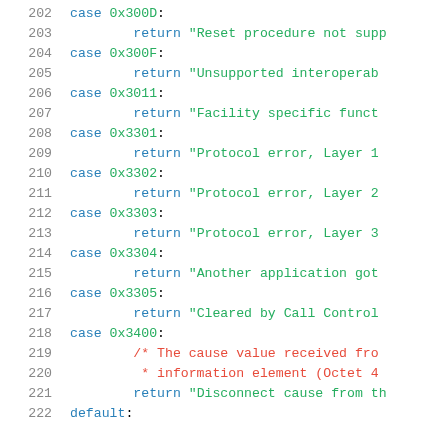Source code snippet showing switch-case statements with hex codes and return strings, lines 202-222